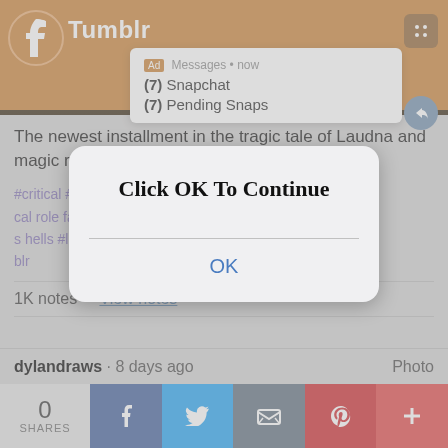[Figure (screenshot): Tumblr app header with orange background, Tumblr logo and wordmark, notification overlay showing Messages now, Snapchat (7) and Pending Snaps (7)]
The newest installment in the tragic tale of Laudna and magic rocks
#critical #characters #critical role characters #criti cal role fanart #critical role art #cr3 #cr3e31 #bells hells #laudna #fanart #digital art #art on tumblr
1K notes · View notes
dylandraws · 8 days ago   Photo
[Figure (screenshot): iOS-style modal dialog with text 'Click OK To Continue' and an OK button in blue]
0 SHARES